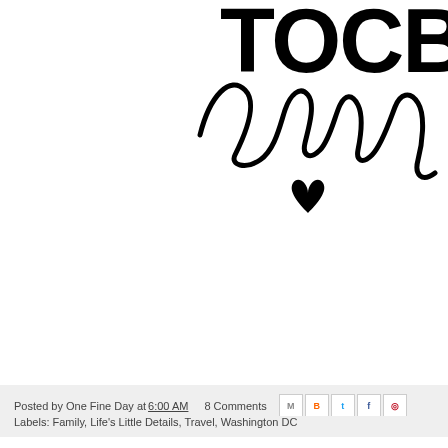[Figure (illustration): Partial bold text (cut off at right edge) and a cursive handwritten signature reading 'ashley' with a small heart below it, on white background]
[Figure (other): Pinterest 'Pin it' button in red with white text]
Posted by One Fine Day at 6:00 AM   8 Comments
Labels: Family, Life's Little Details, Travel, Washington DC